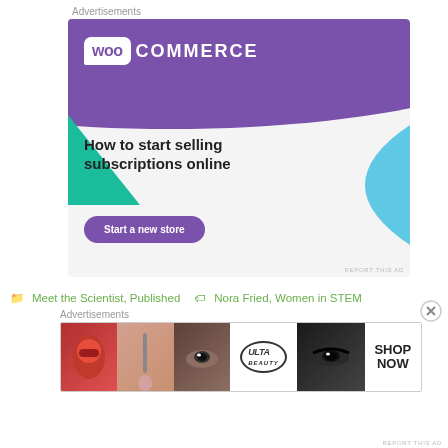Advertisements
[Figure (illustration): WooCommerce advertisement: purple header with WooCommerce logo, green triangle shape, blue curved shape, headline 'How to start selling subscriptions online', purple 'Start a new store' button]
REPORT THIS AD
📁 Meet the Scientist, Published   🏷 Nora Fried, Women in STEM
Advertisements
[Figure (illustration): ULTA beauty advertisement showing makeup images: lips with lipstick, makeup brush, eye with makeup, ULTA logo, bold eyes, and SHOP NOW text]